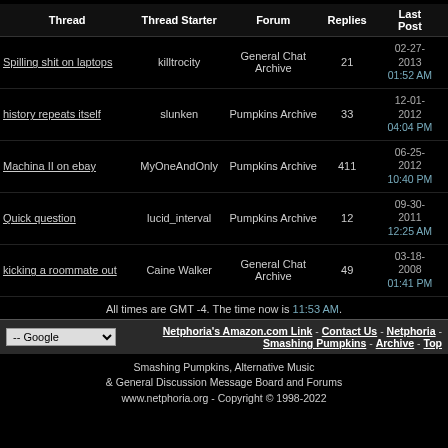| Thread | Thread Starter | Forum | Replies | Last Post |
| --- | --- | --- | --- | --- |
| Spilling shit on laptops | killtrocity | General Chat Archive | 21 | 02-27-2013 01:52 AM |
| history repeats itself | slunken | Pumpkins Archive | 33 | 12-01-2012 04:04 PM |
| Machina II on ebay | MyOneAndOnly | Pumpkins Archive | 411 | 06-25-2012 10:40 PM |
| Quick question | lucid_interval | Pumpkins Archive | 12 | 09-30-2011 12:25 AM |
| kicking a roommate out | Caine Walker | General Chat Archive | 49 | 03-18-2008 01:41 PM |
All times are GMT -4. The time now is 11:53 AM.
Netphoria's Amazon.com Link - Contact Us - Netphoria - Smashing Pumpkins - Archive - Top
Smashing Pumpkins, Alternative Music & General Discussion Message Board and Forums www.netphoria.org - Copyright © 1998-2022